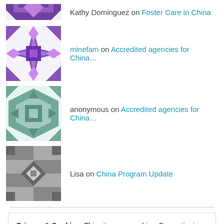Kathy Dominguez on Foster Care in China
minefam on Accredited agencies for China…
anonymous on Accredited agencies for China…
Lisa on China Program Update
Privacy & Cookies: This site uses cookies. By continuing to use this website, you agree to their use. To find out more, including how to control cookies, see here: Cookie Policy
Close and accept